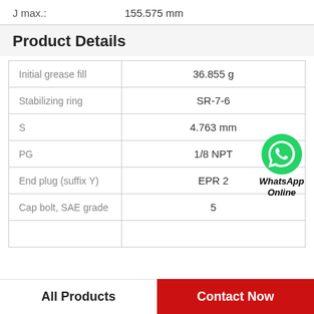J max.: 155.575 mm
Product Details
| Property | Value |
| --- | --- |
| Initial grease fill | 36.855 g |
| Stabilizing ring | SR-7-6 |
| S | 4.763 mm |
| PG | 1/8 NPT |
| End plug (suffix Y) | EPR 2 |
| Cap bolt, SAE grade | 5 |
|  |  |
[Figure (logo): WhatsApp Online badge with green phone icon and bold italic text 'WhatsApp Online']
All Products
Contact Now